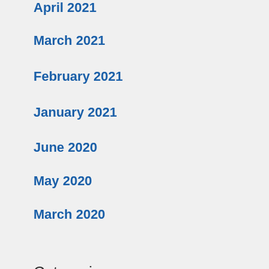April 2021
March 2021
February 2021
January 2021
June 2020
May 2020
March 2020
Categories
21 Days 2021
COVID-19
Daily Devos 2021